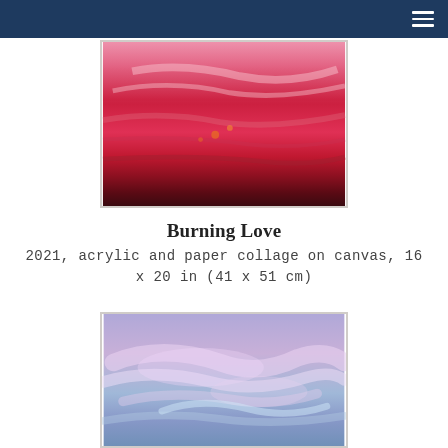[Figure (photo): Abstract acrylic painting with red, pink, and dark maroon horizontal brushstrokes on canvas, textured surface with white highlights]
Burning Love
2021, acrylic and paper collage on canvas, 16 x 20 in (41 x 51 cm)
[Figure (photo): Abstract painting with soft purple, lavender, pink, and light blue swirling cloud-like brushstrokes on canvas]